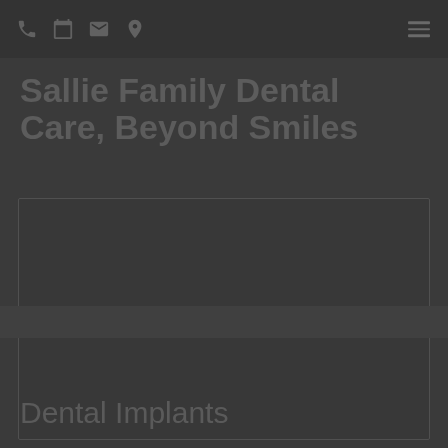Navigation bar with phone, calendar, email, location icons and hamburger menu
Sallie Family Dental Care, Beyond Smiles
[Figure (photo): Dark placeholder image area for dental office or dental implant photo]
Dental Implants